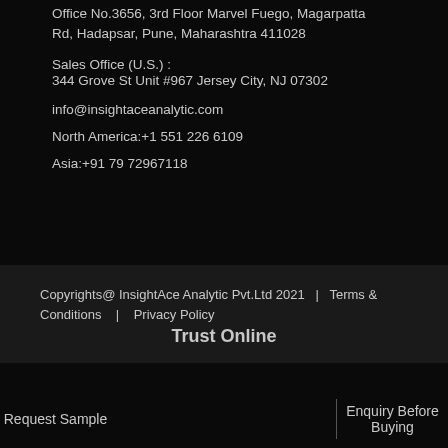Office No.3656, 3rd Floor Marvel Fuego, Magarpatta Rd, Hadapsar, Pune, Maharashtra 411028
Sales Office (U.S.) :
344 Grove St Unit #967 Jersey City, NJ 07302
info@insightaceanalytic.com
North America:+1 551 226 6109
Asia:+91 79 72967118
Copyrights@ InsightAce Analytic Pvt.Ltd 2021  |  Terms & Conditions  |  Privacy Policy
Trust Online
Request Sample
Enquiry Before Buying